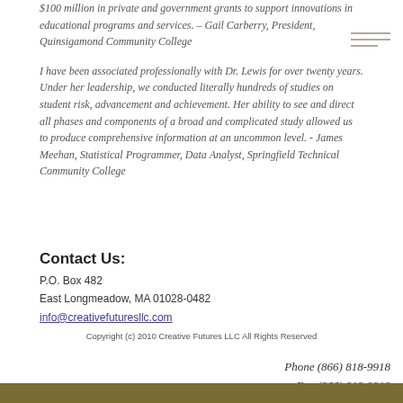$100 million in private and government grants to support innovations in educational programs and services. – Gail Carberry, President, Quinsigamond Community College
I have been associated professionally with Dr. Lewis for over twenty years. Under her leadership, we conducted literally hundreds of studies on student risk, advancement and achievement. Her ability to see and direct all phases and components of a broad and complicated study allowed us to produce comprehensive information at an uncommon level. - James Meehan, Statistical Programmer, Data Analyst, Springfield Technical Community College
Contact Us:
P.O. Box 482
East Longmeadow, MA 01028-0482
info@creativefuturesllc.com
Copyright (c) 2010 Creative Futures LLC All Rights Reserved
Phone (866) 818-9918
Fax (866) 818-9918